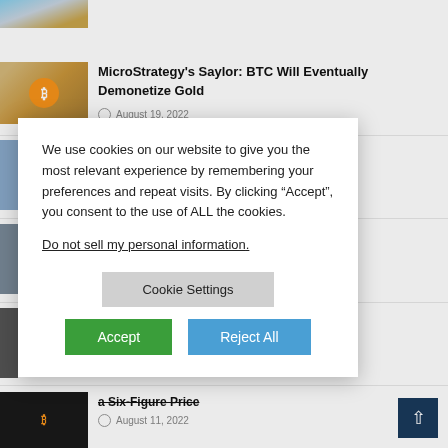[Figure (photo): Partial top image, landscape or sky photo, cropped at top of page]
[Figure (photo): Bitcoin coin thumbnail image with golden/amber tones]
MicroStrategy's Saylor: BTC Will Eventually Demonetize Gold
August 19, 2022
About Terra's
e Celsius' Assets,
BTC Heading to
[Figure (photo): Dark thumbnail image related to BTC six-figure price article]
a Six-Figure Price
August 11, 2022
We use cookies on our website to give you the most relevant experience by remembering your preferences and repeat visits. By clicking “Accept”, you consent to the use of ALL the cookies.
Do not sell my personal information.